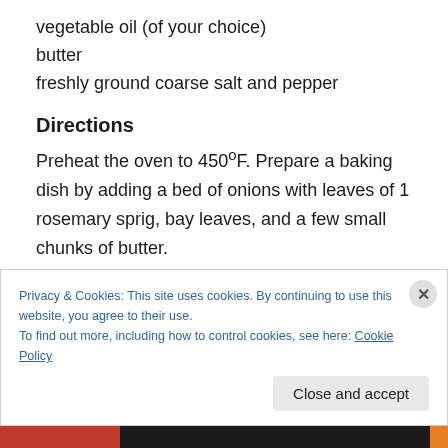vegetable oil (of your choice)
butter
freshly ground coarse salt and pepper
Directions
Preheat the oven to 450ºF. Prepare a baking dish by adding a bed of onions with leaves of 1 rosemary sprig, bay leaves, and a few small chunks of butter. Heat on high 4 tbsp oil in a large frying pan with high sides. While the oil heats, pat very dry the turkey breast, and then rub with oil, salt, pepper and the leaves of the
Privacy & Cookies: This site uses cookies. By continuing to use this website, you agree to their use.
To find out more, including how to control cookies, see here: Cookie Policy
Close and accept